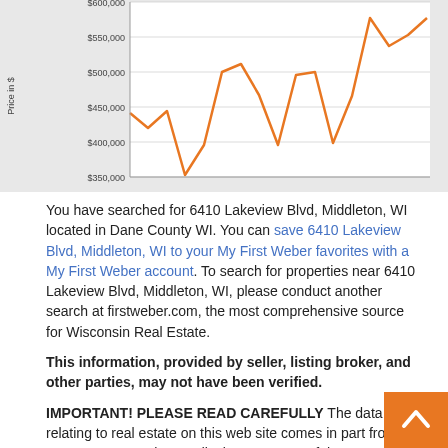[Figure (line-chart): Price history]
You have searched for 6410 Lakeview Blvd, Middleton, WI located in Dane County WI. You can save 6410 Lakeview Blvd, Middleton, WI to your My First Weber favorites with a My First Weber account. To search for properties near 6410 Lakeview Blvd, Middleton, WI, please conduct another search at firstweber.com, the most comprehensive source for Wisconsin Real Estate.
This information, provided by seller, listing broker, and other parties, may not have been verified.
IMPORTANT! PLEASE READ CAREFULLY The data relating to real estate on this web site comes in part from the Internet Data Exchange display programs of the SCWMLS, CWMLS, RANW, NORTHWOODS and METRO MLS. Real Estate listings from SCWMLS held by brokerage firms other than First Weber are marked with the SCWML icon and/or include the name of the listing broker. Real Estate listing